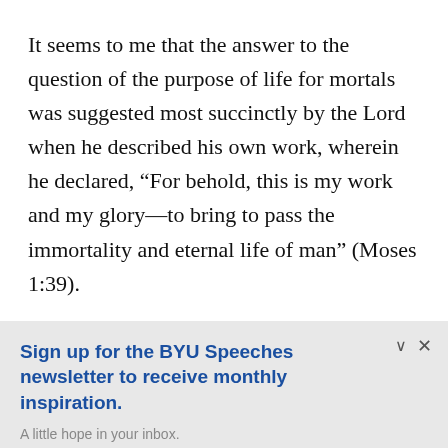It seems to me that the answer to the question of the purpose of life for mortals was suggested most succinctly by the Lord when he described his own work, wherein he declared, “For behold, this is my work and my glory—to bring to pass the immortality and eternal life of man” (Moses 1:39).
Sign up for the BYU Speeches newsletter to receive monthly inspiration.
A little hope in your inbox.
Enter your email
SUBSCRIBE